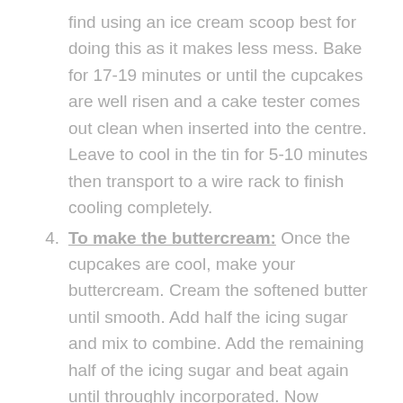find using an ice cream scoop best for doing this as it makes less mess. Bake for 17-19 minutes or until the cupcakes are well risen and a cake tester comes out clean when inserted into the centre. Leave to cool in the tin for 5-10 minutes then transport to a wire rack to finish cooling completely.
To make the buttercream: Once the cupcakes are cool, make your buttercream. Cream the softened butter until smooth. Add half the icing sugar and mix to combine. Add the remaining half of the icing sugar and beat again until throughly incorporated. Now continue to beat the butter and icing sugar together for about 5-7 minutes until it's fluffy and a light pale colour. Make sure you scrape the bottom and sides of the bowl to ensure even mixing.